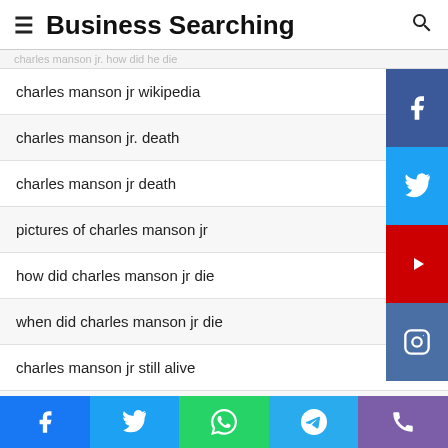Business Searching
charles manson jr. how did he die
charles manson jr wikipedia
charles manson jr. death
charles manson jr death
pictures of charles manson jr
how did charles manson jr die
when did charles manson jr die
charles manson jr still alive
jay white, charles manson jr